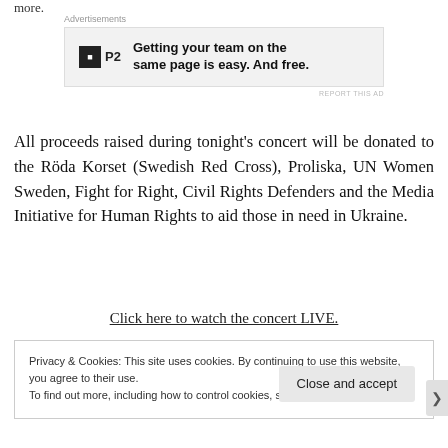more.
[Figure (other): Advertisement banner for P2 project management tool. Logo: black square with 'P2'. Text: 'Getting your team on the same page is easy. And free.']
All proceeds raised during tonight's concert will be donated to the Röda Korset (Swedish Red Cross), Proliska, UN Women Sweden, Fight for Right, Civil Rights Defenders and the Media Initiative for Human Rights to aid those in need in Ukraine.
Click here to watch the concert LIVE.
Privacy & Cookies: This site uses cookies. By continuing to use this website, you agree to their use.
To find out more, including how to control cookies, see here: Cookie Policy